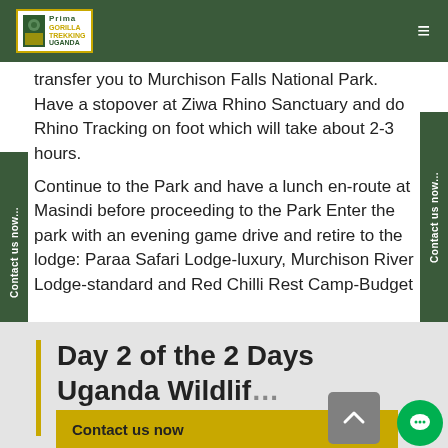Prima Gorilla Trekking Uganda
transfer you to Murchison Falls National Park. Have a stopover at Ziwa Rhino Sanctuary and do Rhino Tracking on foot which will take about 2-3 hours.
Continue to the Park and have a lunch en-route at Masindi before proceeding to the Park Enter the park with an evening game drive and retire to the lodge: Paraa Safari Lodge-luxury, Murchison River Lodge-standard and Red Chilli Rest Camp-Budget
Day 2 of the 2 Days Uganda Wildlife Safari to Mur…